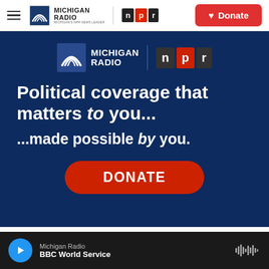Michigan Radio | NPR | Donate
[Figure (screenshot): Michigan Radio NPR advertisement banner on dark navy background. Text reads: 'Political coverage that matters to you... ...made possible by you.' with a red DONATE button. Features Michigan Radio and NPR logos.]
Michigan Radio — BBC World Service (audio player bar)